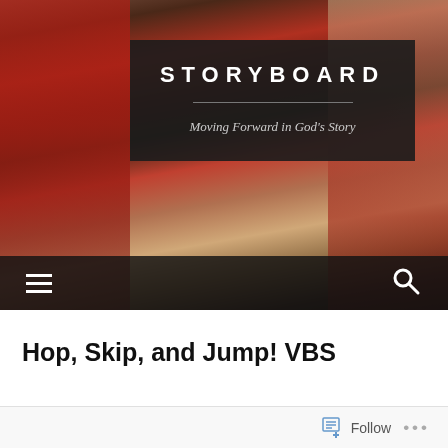[Figure (photo): Hero image of a crowd of people with hands raised, people wearing red shirts, dark semi-transparent overlay box in the center containing the STORYBOARD title and subtitle]
STORYBOARD
Moving Forward in God's Story
Hop, Skip, and Jump! VBS
Follow